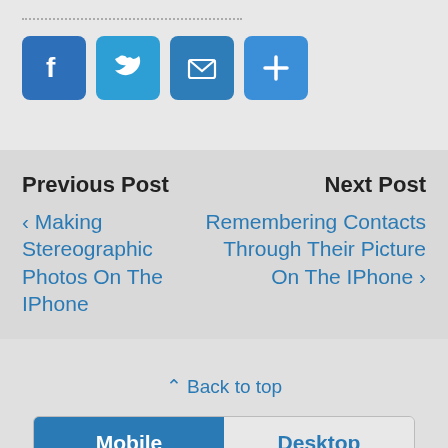[Figure (illustration): Social sharing icons: Facebook (blue), Twitter (light blue), Mail (blue), Plus/More (blue), displayed as rounded square buttons]
Previous Post
‹ Making Stereographic Photos On The IPhone
Next Post
Remembering Contacts Through Their Picture On The IPhone ›
⇧ Back to top
Mobile | Desktop
All content Copyright Everything iPhone Photo